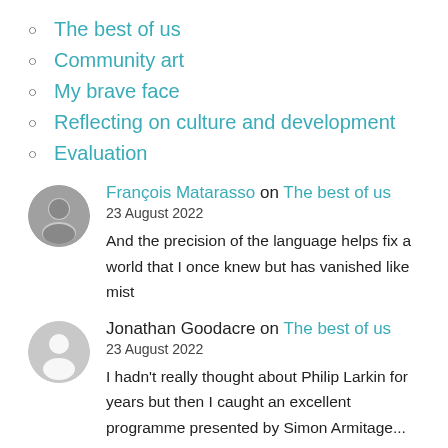The best of us
Community art
My brave face
Reflecting on culture and development
Evaluation
François Matarasso on The best of us
23 August 2022
And the precision of the language helps fix a world that I once knew but has vanished like mist
Jonathan Goodacre on The best of us
23 August 2022
I hadn't really thought about Philip Larkin for years but then I caught an excellent programme presented by Simon Armitage...